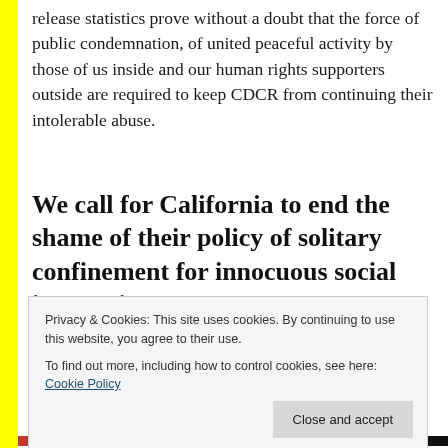release statistics prove without a doubt that the force of public condemnation, of united peaceful activity by those of us inside and our human rights supporters outside are required to keep CDCR from continuing their intolerable abuse.
We call for California to end the shame of their policy of solitary confinement for innocuous social interaction.
Privacy & Cookies: This site uses cookies. By continuing to use this website, you agree to their use.
To find out more, including how to control cookies, see here: Cookie Policy